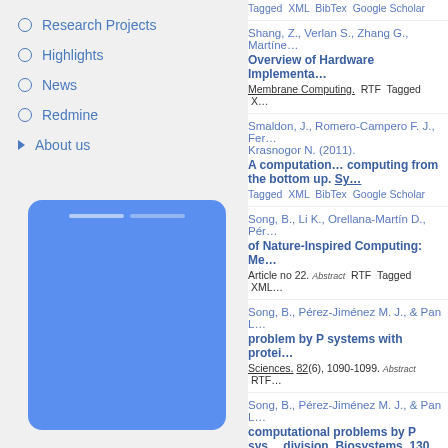Research Projects
Highlights
News
Redmine
About us
[Figure (other): Blue rounded rectangle card UI element with two handle bars at top]
Tagged XML BibTex Google Scholar
Shang, Z., Verlan S., Zhang G., Martínez... Overview of Hardware Implementa... Membrane Computing. RTF Tagged X
Smaldon, J., Romero-Campero F. J., Fer... Krasnogor N. (2011). A computation... computing from the bottom up. Sy... Tagged XML BibTex Google Scholar
Song, B., Li K., Orellana-Martín D., Pér... of Nature-Inspired Computing: Me... Article no 22. Abstract RTF Tagged XML
Song, B., Pérez-Jiménez M. J., & Pan L... problem by P systems with protei... Sciences. 82(6), 1090-1099. Abstract RTF
Song, B., Pérez-Jiménez M. J., & Pan L... computational problems by P sys... division. Biosystems. 130, 51-58. Abstra
Song, T., Pan L., & Paun G. (2013). As...